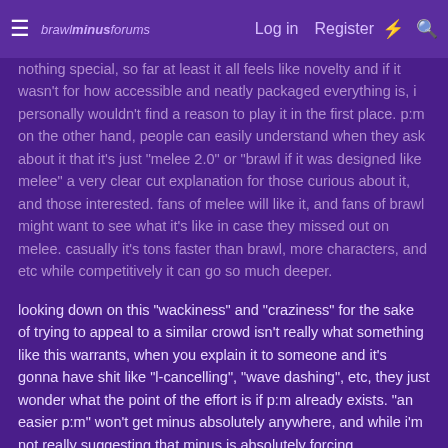≡  brawl minus forums   Log in   Register
nothing special, so far at least it all feels like novelty and if it wasn't for how accessible and neatly packaged everything is, i personally wouldn't find a reason to play it in the first place. p:m on the other hand, people can easily understand when they ask about it that it's just "melee 2.0" or "brawl if it was designed like melee" a very clear cut explanation for those curious about it, and those interested. fans of melee will like it, and fans of brawl might want to see what it's like in case they missed out on melee. casually it's tons faster than brawl, more characters, and etc while competitively it can go so much deeper.
looking down on this "wackiness" and "craziness" for the sake of trying to appeal to a similar crowd isn't really what something like this warrants, when you explain it to someone and it's gonna have shit like "l-cancelling", "wave dashing", etc, they just wonder what the point of the effort is if p:m already exists. "an easier p:m" won't get minus absolutely anywhere, and while i'm not really suggesting that minus is absolutely forcing themselves to just be "another melee brawl mod", what it's doing now doesn't really do anything outside of the norm besides some